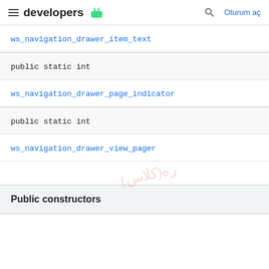developers
ws_navigation_drawer_item_text
public static int
ws_navigation_drawer_page_indicator
public static int
ws_navigation_drawer_view_pager
Public constructors